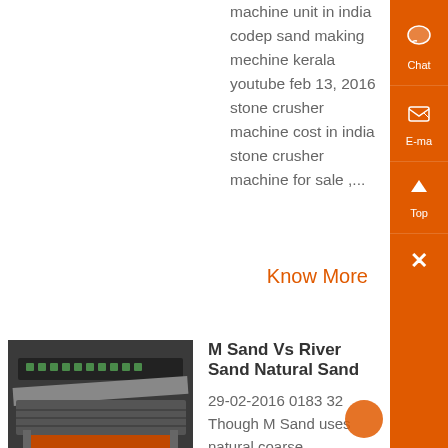machine unit in india codep sand making mechine kerala youtube feb 13, 2016 stone crusher machine cost in india stone crusher machine for sale ,...
Know More
[Figure (photo): Photo of an industrial sand/aggregate screening or crushing machine with conveyor belts and orange/dark metal structures.]
M Sand Vs River Sand Natural Sand
29-02-2016 0183 32 Though M Sand uses natural coarse aggregates to form, it causes less damage to the environment as compared to river sand Harmful to the environment Eco imbalances, reduce